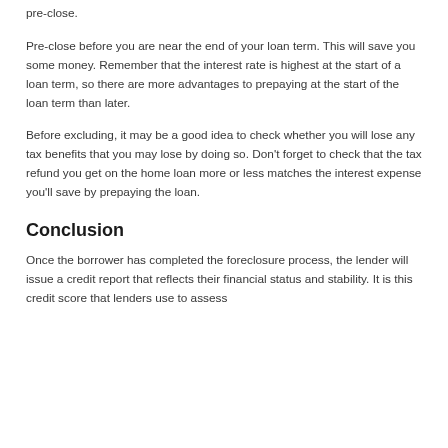pre-close.
Pre-close before you are near the end of your loan term. This will save you some money. Remember that the interest rate is highest at the start of a loan term, so there are more advantages to prepaying at the start of the loan term than later.
Before excluding, it may be a good idea to check whether you will lose any tax benefits that you may lose by doing so. Don't forget to check that the tax refund you get on the home loan more or less matches the interest expense you'll save by prepaying the loan.
Conclusion
Once the borrower has completed the foreclosure process, the lender will issue a credit report that reflects their financial status and stability. It is this credit score that lenders use to assess